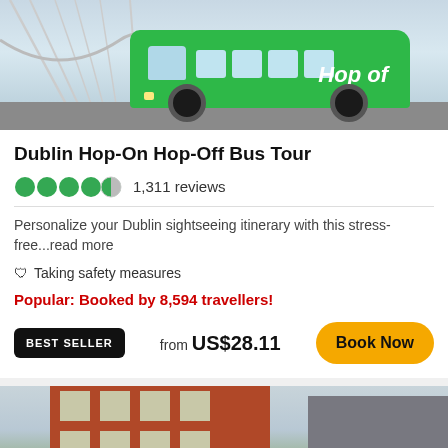[Figure (photo): Green Hop-On Hop-Off bus on a bridge in Dublin]
Dublin Hop-On Hop-Off Bus Tour
1,311 reviews
Personalize your Dublin sightseeing itinerary with this stress-free...read more
🛡 Taking safety measures
Popular: Booked by 8,594 travellers!
BEST SELLER  from US$28.11  Book Now
[Figure (photo): Red double-decker City Sightseeing Dublin bus on a city street]